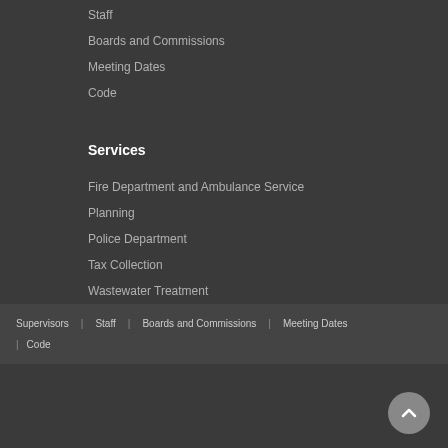Staff
Boards and Commissions
Meeting Dates
Code
Services
Fire Department and Ambulance Service
Planning
Police Department
Tax Collection
Wastewater Treatment
Zoning
Supervisors | Staff | Boards and Commissions | Meeting Dates | Code